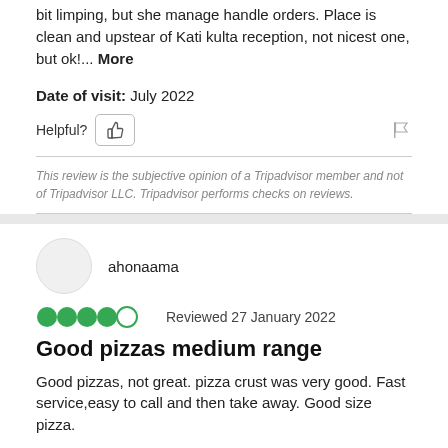bit limping, but she manage handle orders. Place is clean and upstear of Kati kulta reception, not nicest one, but ok!... More
Date of visit: July 2022
Helpful?
This review is the subjective opinion of a Tripadvisor member and not of Tripadvisor LLC. Tripadvisor performs checks on reviews.
ahonaama
Reviewed 27 January 2022
Good pizzas medium range
Good pizzas, not great. pizza crust was very good. Fast service,easy to call and then take away. Good size pizza.
Date of visit: January 2022
Helpful?